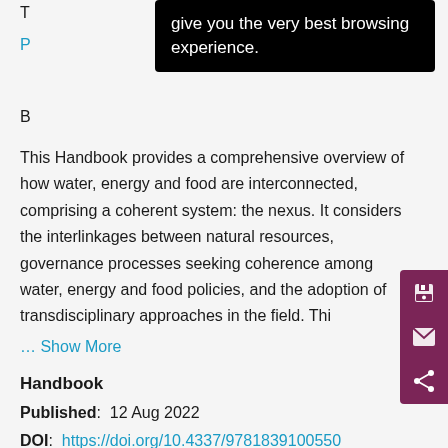[Figure (screenshot): Browser tooltip overlay with black background showing text: 'give you the very best browsing experience.']
This Handbook provides a comprehensive overview of how water, energy and food are interconnected, comprising a coherent system: the nexus. It considers the interlinkages between natural resources, governance processes seeking coherence among water, energy and food policies, and the adoption of transdisciplinary approaches in the field. Thi
... Show More
Handbook
Published:  12 Aug 2022
DOI:  https://doi.org/10.4337/9781839100550